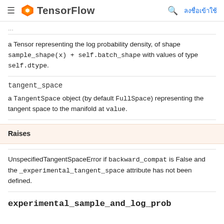TensorFlow  ลงชื่อเข้าใช้
a Tensor representing the log probability density, of shape sample_shape(x) + self.batch_shape with values of type self.dtype.
tangent_space
a TangentSpace object (by default FullSpace) representing the tangent space to the manifold at value.
Raises
UnspecifiedTangentSpaceError if backward_compat is False and the _experimental_tangent_space attribute has not been defined.
experimental_sample_and_log_prob